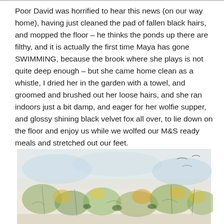Poor David was horrified to hear this news (on our way home), having just cleaned the pad of fallen black hairs, and mopped the floor – he thinks the ponds up there are filthy, and it is actually the first time Maya has gone SWIMMING, because the brook where she plays is not quite deep enough – but she came home clean as a whistle, I dried her in the garden with a towel, and groomed and brushed out her loose hairs, and she ran indoors just a bit damp, and eager for her wolfie supper, and glossy shining black velvet fox all over, to lie down on the floor and enjoy us while we wolfed our M&S ready meals and stretched out our feet.
[Figure (illustration): A pastel/watercolour sketch showing colourful figures or foliage in light blues, greens, yellows and oranges against a pale background.]